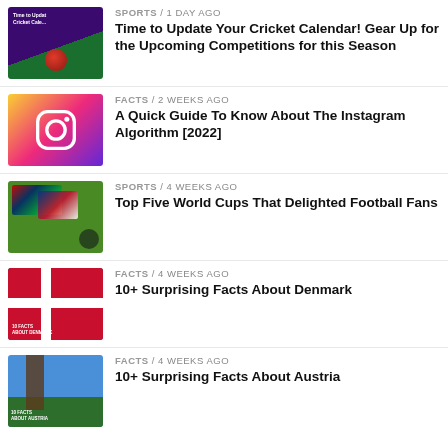SPORTS / 1 day ago — Time to Update Your Cricket Calendar! Gear Up for the Upcoming Competitions for this Season
FACTS / 2 weeks ago — A Quick Guide To Know About The Instagram Algorithm [2022]
SPORTS / 4 weeks ago — Top Five World Cups That Delighted Football Fans
FACTS / 4 weeks ago — 10+ Surprising Facts About Denmark
FACTS / 4 weeks ago — 10+ Surprising Facts About Austria